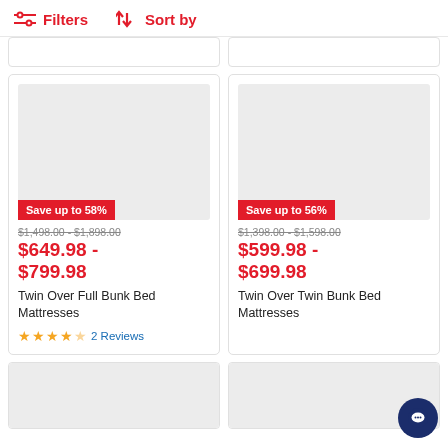Filters   Sort by
[Figure (screenshot): Top partial product card stubs (cut off)]
[Figure (photo): Product image placeholder for Twin Over Full Bunk Bed Mattresses]
Save up to 58%
$1,498.00 - $1,898.00
$649.98 - $799.98
Twin Over Full Bunk Bed Mattresses
2 Reviews
[Figure (photo): Product image placeholder for Twin Over Twin Bunk Bed Mattresses]
Save up to 56%
$1,398.00 - $1,598.00
$599.98 - $699.98
Twin Over Twin Bunk Bed Mattresses
[Figure (screenshot): Bottom partial product card stubs (cut off)]